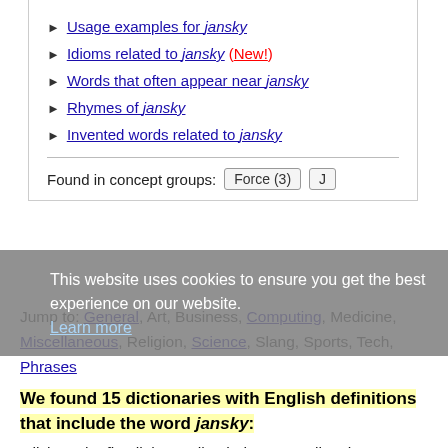Usage examples for jansky
Idioms related to jansky (New!)
Words that often appear near jansky
Rhymes of jansky
Invented words related to jansky
Found in concept groups: Force (3) J
This website uses cookies to ensure you get the best experience on our website. Learn more
Jump to: General, Art, Business, Computing, Medicine, Miscellaneous, Religion, Science, Slang, Sports, Tech, Phrases
We found 15 dictionaries with English definitions that include the word jansky: Click on the first link on a line below to go directly to a page where "jansky" is defined.